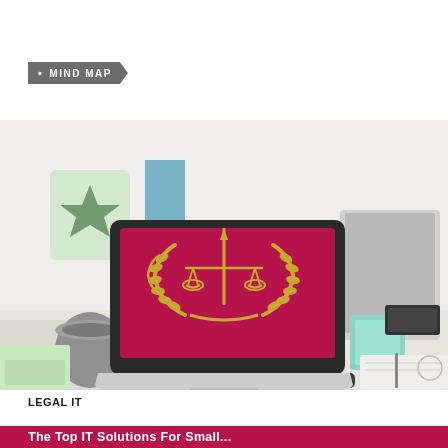MIND MAP
[Figure (photo): Laptop on a desk showing a gold scales of justice emblem on a dark pink/crimson background, with a coffee mug, papers, and sticky notes on the desk]
LEGAL IT
The Top IT Solutions For Small...